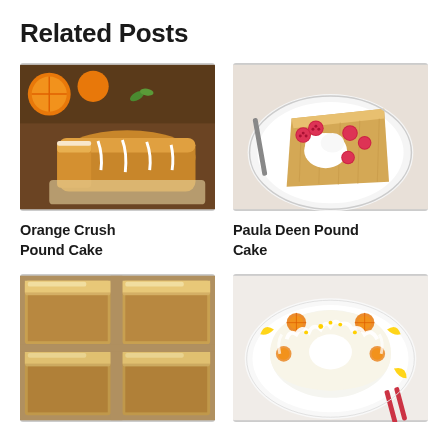Related Posts
[Figure (photo): Photo of Orange Crush Pound Cake with orange halves and white glaze drizzle on a cutting board]
Orange Crush Pound Cake
[Figure (photo): Photo of a slice of Paula Deen Pound Cake on a white plate topped with whipped cream and raspberries]
Paula Deen Pound Cake
[Figure (photo): Photo of caramel frosted snack cake bars cut into squares]
[Figure (photo): Photo of a lemon bundt cake on a white plate decorated with orange slices, lemon wedges, and white glaze drizzle]